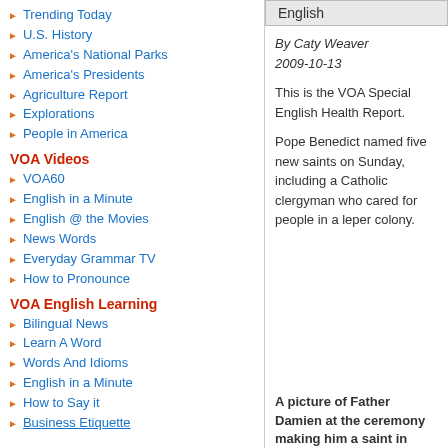Trending Today
U.S. History
America's National Parks
America's Presidents
Agriculture Report
Explorations
People in America
VOA Videos
VOA60
English in a Minute
English @ the Movies
News Words
Everyday Grammar TV
How to Pronounce
VOA English Learning
Bilingual News
Learn A Word
Words And Idioms
English in a Minute
How to Say it
Business Etiquette
English
By Caty Weaver
2009-10-13
This is the VOA Special English Health Report.
Pope Benedict named five new saints on Sunday, including a Catholic clergyman who cared for people in a leper colony.
A picture of Father Damien at the ceremony making him a saint in